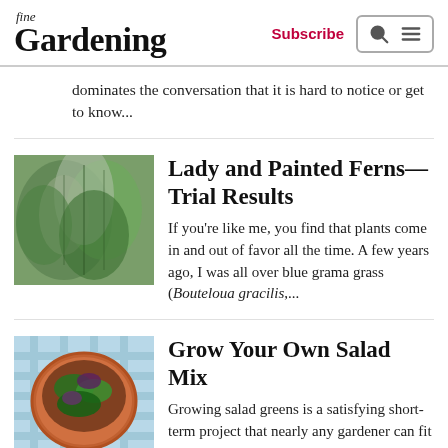fine Gardening — Subscribe
dominates the conversation that it is hard to notice or get to know...
Lady and Painted Ferns—Trial Results
If you're like me, you find that plants come in and out of favor all the time. A few years ago, I was all over blue grama grass (Bouteloua gracilis,...
Grow Your Own Salad Mix
Growing salad greens is a satisfying short-term project that nearly any gardener can fit into their space and schedule. Most greens mature